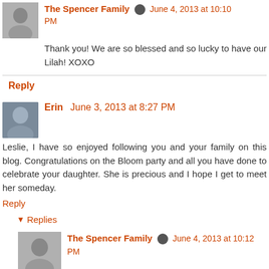The Spencer Family · June 4, 2013 at 10:10 PM
Thank you! We are so blessed and so lucky to have our Lilah! XOXO
Reply
Erin · June 3, 2013 at 8:27 PM
Leslie, I have so enjoyed following you and your family on this blog. Congratulations on the Bloom party and all you have done to celebrate your daughter. She is precious and I hope I get to meet her someday.
Reply
Replies
The Spencer Family · June 4, 2013 at 10:12 PM
Thanks Erin! So great to hear from you and it means so much to me to know that you have